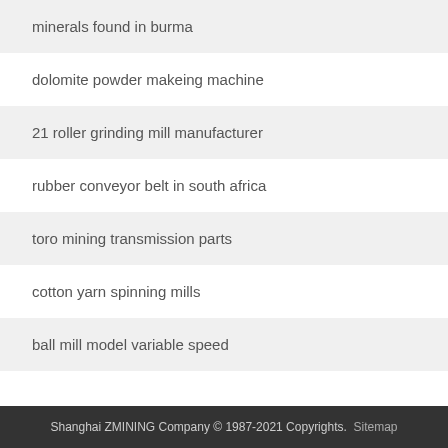minerals found in burma
dolomite powder makeing machine
21 roller grinding mill manufacturer
rubber conveyor belt in south africa
toro mining transmission parts
cotton yarn spinning mills
ball mill model variable speed
Shanghai ZMINING Company © 1987-2021 Copyrights. Sitemap